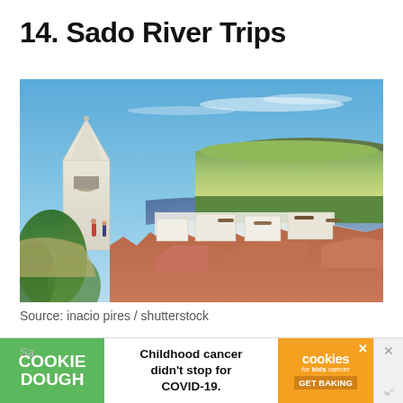14. Sado River Trips
[Figure (photo): Aerial view of Sado River with a white bell tower/church spire in the foreground left, river winding through the landscape, green rice fields and hills in the background, red-roofed village buildings below, blue sky with wispy clouds.]
Source: inacio pires / shutterstock
[Figure (other): Advertisement banner: Cookie Dough brand ad for cookies for kids' cancer. Text reads: Childhood cancer didn't stop for COVID-19. GET BAKING]